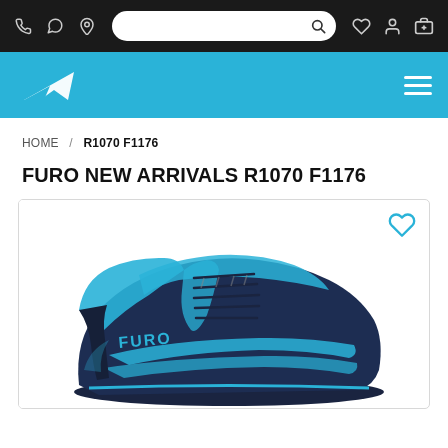Navigation bar with phone, WhatsApp, location icons; search bar; wishlist, account, cart icons
[Figure (logo): Furo brand logo — white stylized wing/lightning bolt on blue background header bar with hamburger menu]
HOME / R1070 F1176
FURO NEW ARRIVALS R1070 F1176
[Figure (photo): Dark navy blue and cyan/turquoise running shoe (Furo brand R1070 F1176) shown from the side, highlighting mesh upper, laces, and Furo branding on the side panel. Heart/wishlist icon in top right corner of image frame.]